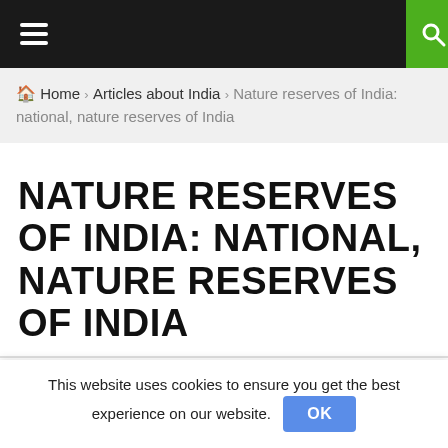≡ [hamburger menu] [search icon]
🏠 Home › Articles about India › Nature reserves of India: national, nature reserves of India
NATURE RESERVES OF INDIA: NATIONAL, NATURE RESERVES OF INDIA
This website uses cookies to ensure you get the best experience on our website. OK